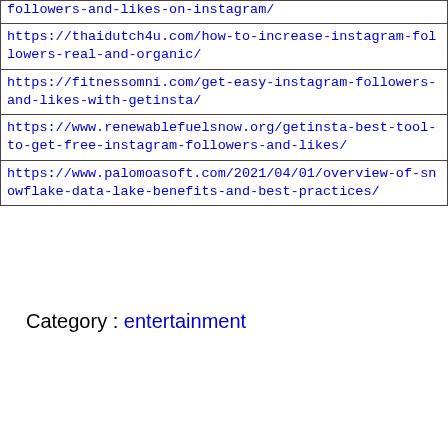| followers-and-likes-on-instagram/ |
| https://thaidutch4u.com/how-to-increase-instagram-followers-real-and-organic/ |
| https://fitnessomni.com/get-easy-instagram-followers-and-likes-with-getinsta/ |
| https://www.renewablefuelsnow.org/getinsta-best-tool-to-get-free-instagram-followers-and-likes/ |
| https://www.palomoasoft.com/2021/04/01/overview-of-snowflake-data-lake-benefits-and-best-practices/ |
Category : entertainment